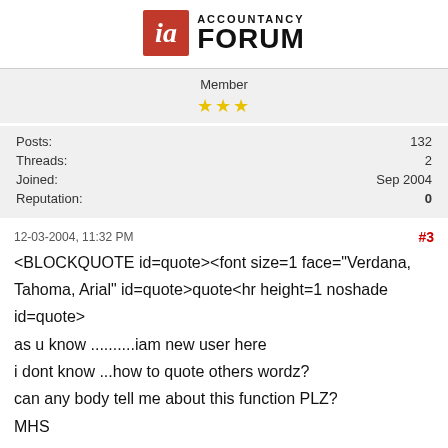[Figure (logo): Accountancy Forum logo with red stylized 'ia' icon and bold text 'ACCOUNTANCY FORUM']
Member
★★★
| Posts: | 132 |
| Threads: | 2 |
| Joined: | Sep 2004 |
| Reputation: | 0 |
12-03-2004, 11:32 PM
#3
<BLOCKQUOTE id=quote><font size=1 face="Verdana, Tahoma, Arial" id=quote>quote<hr height=1 noshade id=quote>
as u know ..........iam new user here
i dont know ...how to quote others wordz?
can any body tell me about this function PLZ?

MHS